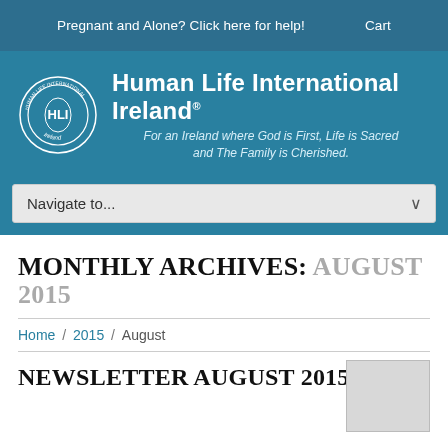Pregnant and Alone? Click here for help!   Cart
[Figure (logo): Human Life International Ireland circular logo with HLI initials and Ireland text]
Human Life International Ireland® For an Ireland where God is First, Life is Sacred and The Family is Cherished.
Navigate to...
MONTHLY ARCHIVES: AUGUST 2015
Home / 2015 / August
NEWSLETTER AUGUST 2015
[Figure (photo): Small thumbnail image partially visible at bottom right]